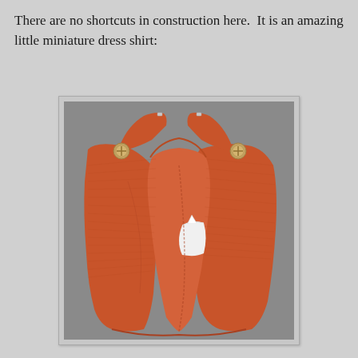There are no shortcuts in construction here.  It is an amazing little miniature dress shirt:
[Figure (photo): Close-up photograph of a small orange knit miniature dress shirt laid open, showing the interior lining, a white pocket square, and metal snap buttons at the shoulders, against a gray background.]